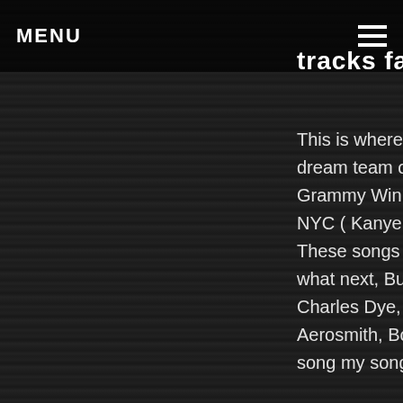MENU
tracks famous
This is where everything changes.. I seriously dream team of mixers. Pinching myself. Multi Grammy Winning mixer producer, Brent Kola NYC ( Kanye West, Eminem, Janet Jackson, M These songs are sounding unbelievable Yaho what next, But Legendary Grammy winning m Charles Dye, Miami ( Ricki Martin, lauryn Hill, S Aerosmith, Bonjovi, many more... I think his m song my song 360, is unreal..  Thanks Guys